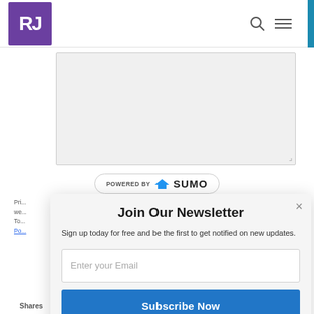RJ logo with search and menu icons
[Figure (screenshot): Large textarea / content input area with light gray background and resize handle]
POWERED BY SUMO
Pri... we... To Po...
Join Our Newsletter
Sign up today for free and be the first to get notified on new updates.
Enter your Email
Subscribe Now
Shares